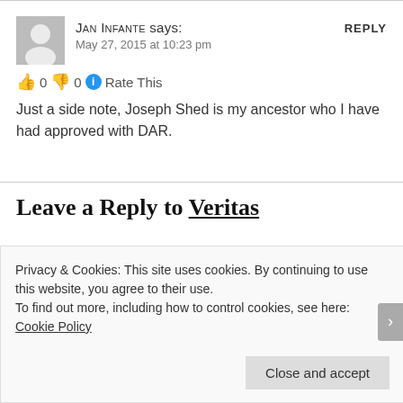Jan Infante says: May 27, 2015 at 10:23 pm
👍 0 👎 0 ℹ Rate This
Just a side note, Joseph Shed is my ancestor who I have had approved with DAR.
Leave a Reply to Veritas
Your email address will not be published. Required fields are marked *
Privacy & Cookies: This site uses cookies. By continuing to use this website, you agree to their use.
To find out more, including how to control cookies, see here: Cookie Policy
Close and accept